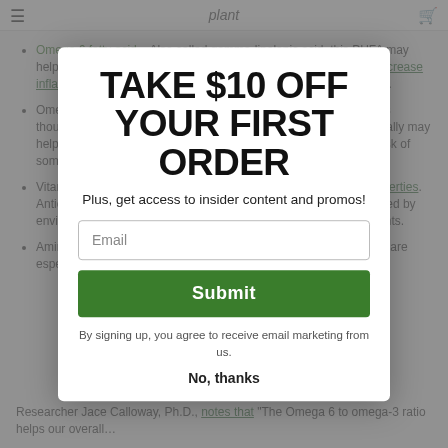[Figure (screenshot): Background webpage content showing a list of hemp seed nutritional benefits (Omega 6 fatty acid, Omega 3 fatty acid, Vitamin E, Amino acids) with green hyperlinks, partially obscured by a modal popup overlay.]
TAKE $10 OFF YOUR FIRST ORDER
Plus, get access to insider content and promos!
Email
Submit
By signing up, you agree to receive email marketing from us.
No, thanks